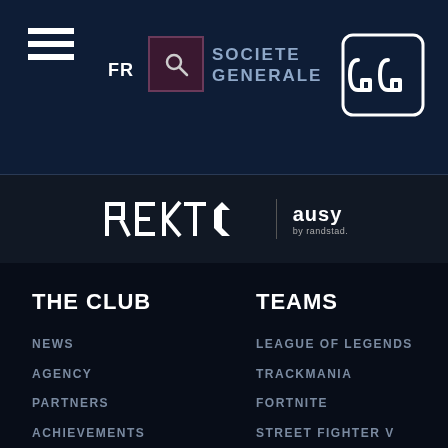FR | SOCIETE GENERALE
[Figure (logo): GG esports logo — stylized GG letters in white on dark navy background, top right]
[Figure (logo): Sponsor bar: REKT logo and ausy by randstad logo]
THE CLUB
NEWS
AGENCY
PARTNERS
ACHIEVEMENTS
CONTACT
TEAMS
LEAGUE OF LEGENDS
TRACKMANIA
FORTNITE
STREET FIGHTER V
SUPER SMASH BROS ULTIMATE